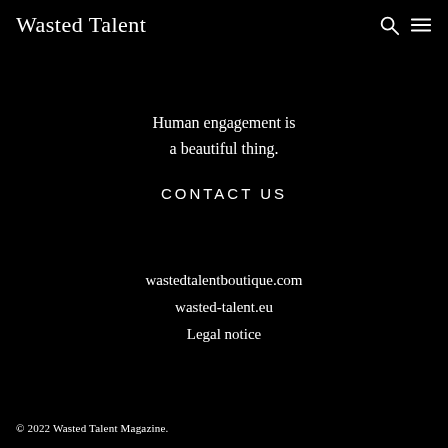Wasted Talent
Human engagement is a beautiful thing.
CONTACT US
wastedtalentboutique.com
wasted-talent.eu
Legal notice
© 2022 Wasted Talent Magazine.